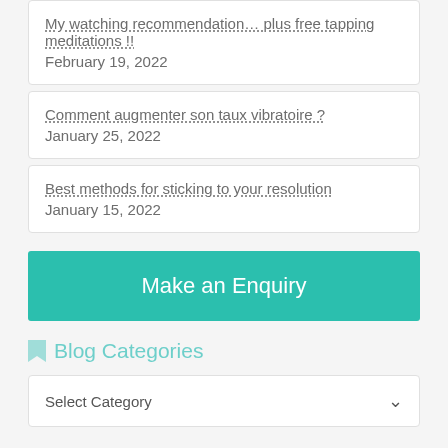My watching recommendation… plus free tapping meditations !!
February 19, 2022
Comment augmenter son taux vibratoire ?
January 25, 2022
Best methods for sticking to your resolution
January 15, 2022
Make an Enquiry
Blog Categories
Select Category